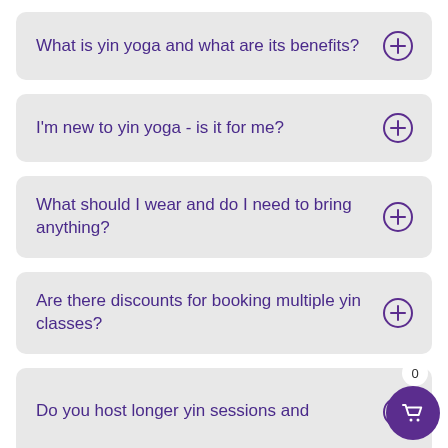What is yin yoga and what are its benefits?
I'm new to yin yoga - is it for me?
What should I wear and do I need to bring anything?
Are there discounts for booking multiple yin classes?
Do you host longer yin sessions and